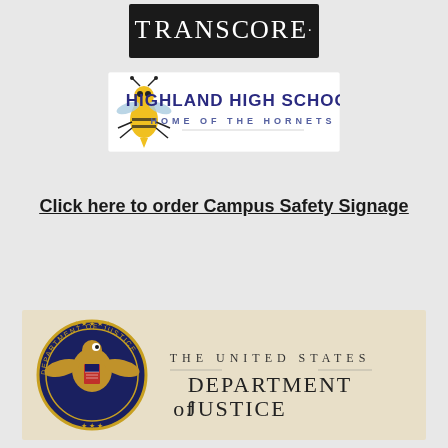[Figure (logo): TransCore logo — white text on black background]
[Figure (logo): Highland High School — Home of the Hornets logo with hornet mascot]
Click here to order Campus Safety Signage
[Figure (logo): The United States Department of Justice seal and wordmark]